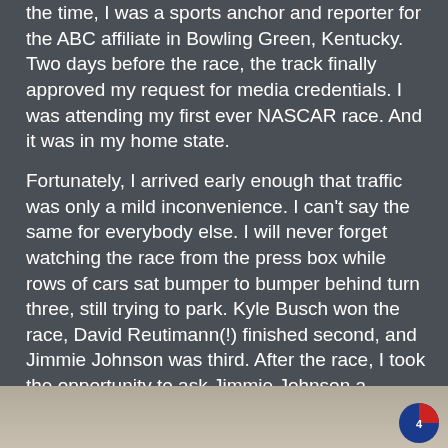the time, I was a sports anchor and reporter for the ABC affiliate in Bowling Green, Kentucky. Two days before the race, the track finally approved my request for media credentials. I was attending my first ever NASCAR race. And it was in my home state.
Fortunately, I arrived early enough that traffic was only a mild inconvenience. I can't say the same for everybody else. I will never forget watching the race from the press box while rows of cars sat bumper to bumper behind turn three, still trying to park. Kyle Busch won the race, David Reutimann(!) finished second, and Jimmie Johnson was third. After the race, I took the opportunity to ask Jimmie Johnson a question in the media center. Words cannot express the thrill of that moment for me.
[Figure (photo): Partial photo strip at bottom of page showing a blurred/grey background with a small logo badge in the bottom right corner]